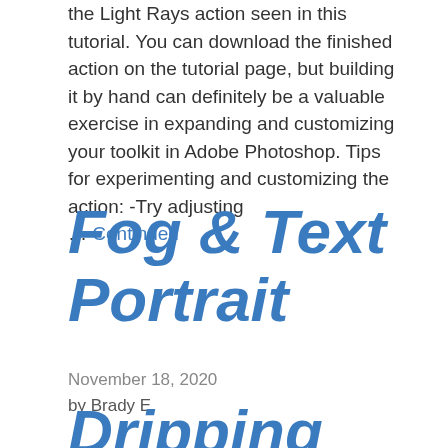the Light Rays action seen in this tutorial. You can download the finished action on the tutorial page, but building it by hand can definitely be a valuable exercise in expanding and customizing your toolkit in Adobe Photoshop. Tips for experimenting and customizing the action: -Try adjusting … Continued
Fog & Text Portrait
November 18, 2020
by Brady E.
Dripping Paint